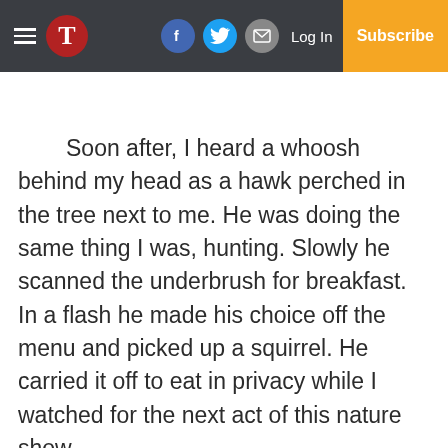T | [Facebook] [Twitter] [Email] Log In | Subscribe
Soon after, I heard a whoosh behind my head as a hawk perched in the tree next to me. He was doing the same thing I was, hunting. Slowly he scanned the underbrush for breakfast. In a flash he made his choice off the menu and picked up a squirrel. He carried it off to eat in privacy while I watched for the next act of this nature show.
Wild turkeys and even more deer crossed the openings throughout the morning. Before I knew it, it was noon and my stomach sounded like a bear